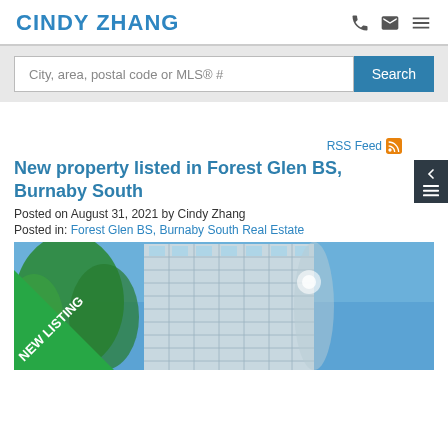CINDY ZHANG
City, area, postal code or MLS® #
Search
RSS Feed
New property listed in Forest Glen BS, Burnaby South
Posted on August 31, 2021  by Cindy Zhang
Posted in: Forest Glen BS, Burnaby South Real Estate
[Figure (photo): Exterior photo of a modern high-rise condominium building with glass facade against a blue sky, with a green NEW LISTING banner in the lower-left corner.]